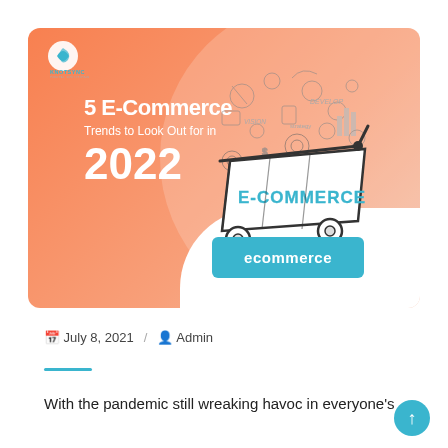[Figure (illustration): Hero banner with orange gradient background, e-commerce shopping cart illustration with sketched icons and 'E-COMMERCE' text, large white text reading '5 E-Commerce Trends to Look Out for in 2022', and a teal 'ecommerce' button]
July 8, 2021  /  Admin
With the pandemic still wreaking havoc in everyone's